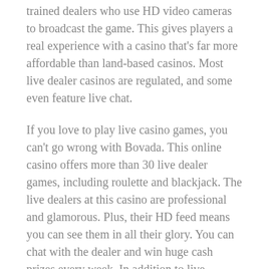trained dealers who use HD video cameras to broadcast the game. This gives players a real experience with a casino that's far more affordable than land-based casinos. Most live dealer casinos are regulated, and some even feature live chat.
If you love to play live casino games, you can't go wrong with Bovada. This online casino offers more than 30 live dealer games, including roulette and blackjack. The live dealers at this casino are professional and glamorous. Plus, their HD feed means you can see them in all their glory. You can chat with the dealer and win huge cash prizes every week. In addition to live dealers, you'll also find dozens of video poker games and a unique Keno Jackpot game.